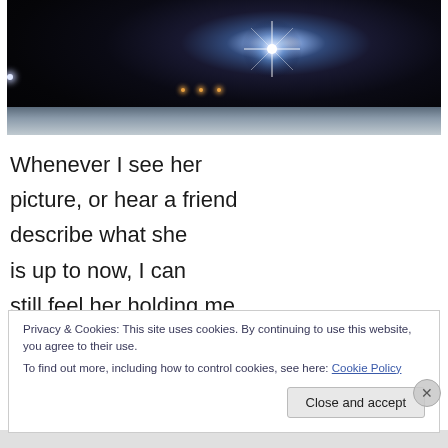[Figure (photo): Night scene photograph with a bright starburst light source in the upper center-right area against a dark sky, with smaller orange lights in the distance and a snowy or light-colored ground at the bottom.]
Whenever I see her picture, or hear a friend describe what she is up to now, I can still feel her holding me.
Privacy & Cookies: This site uses cookies. By continuing to use this website, you agree to their use.
To find out more, including how to control cookies, see here: Cookie Policy
Close and accept